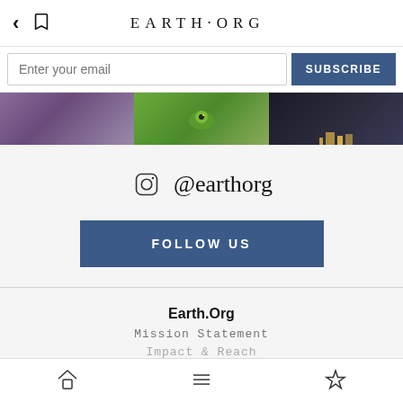EARTH·ORG
Enter your email
[Figure (photo): Three image panels: purple coral/flower, green illustrated background with character, dark cityscape at night]
@earthorg
FOLLOW US
Earth.Org
Mission Statement
Impact & Reach